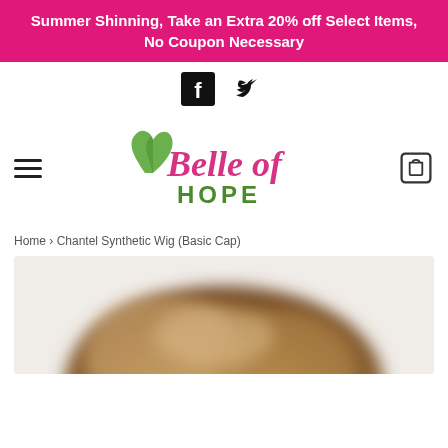Summer Shinning, Take an Extra 20% off Select Items, No Coupon Necessary
[Figure (logo): Facebook and Twitter social media icons]
[Figure (logo): Belle of Hope logo with green leaf heart and pink/green script text]
Home › Chantel Synthetic Wig (Basic Cap)
[Figure (photo): Blurred bottom portion of a woman wearing a blonde/brown synthetic wig]